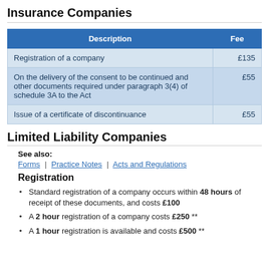Insurance Companies
| Description | Fee |
| --- | --- |
| Registration of a company | £135 |
| On the delivery of the consent to be continued and other documents required under paragraph 3(4) of schedule 3A to the Act | £55 |
| Issue of a certificate of discontinuance | £55 |
Limited Liability Companies
See also:
Forms | Practice Notes | Acts and Regulations
Registration
Standard registration of a company occurs within 48 hours of receipt of these documents, and costs £100
A 2 hour registration of a company costs £250 **
A 1 hour registration is available and costs £500 **